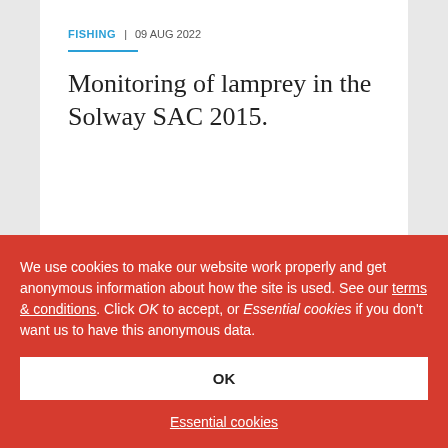FISHING | 09 AUG 2022
Monitoring of lamprey in the Solway SAC 2015.
Napier-Munn, T. & O'Keeffe, N.
We use cookies to make our website work properly and get anonymous information about how the site is used. See our terms & conditions. Click OK to accept, or Essential cookies if you don't want us to have this anonymous data.
OK
Essential cookies